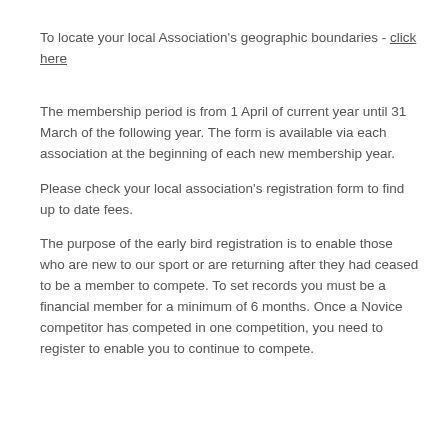To locate your local Association's geographic boundaries - click here
The membership period is from 1 April of current year until 31 March of the following year. The form is available via each association at the beginning of each new membership year.
Please check your local association's registration form to find up to date fees.
The purpose of the early bird registration is to enable those who are new to our sport or are returning after they had ceased to be a member to compete. To set records you must be a financial member for a minimum of 6 months. Once a Novice competitor has competed in one competition, you need to register to enable you to continue to compete.